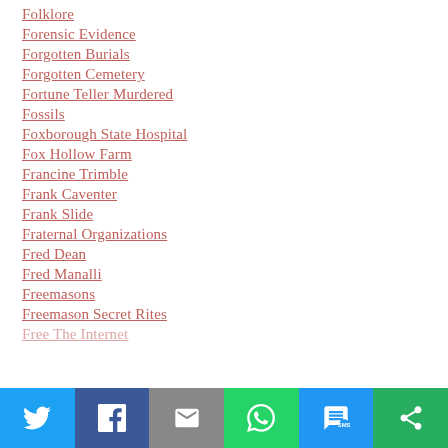Folklore
Forensic Evidence
Forgotten Burials
Forgotten Cemetery
Fortune Teller Murdered
Fossils
Foxborough State Hospital
Fox Hollow Farm
Francine Trimble
Frank Caventer
Frank Slide
Fraternal Organizations
Fred Dean
Fred Manalli
Freemasons
Freemason Secret Rites
Free The Internet